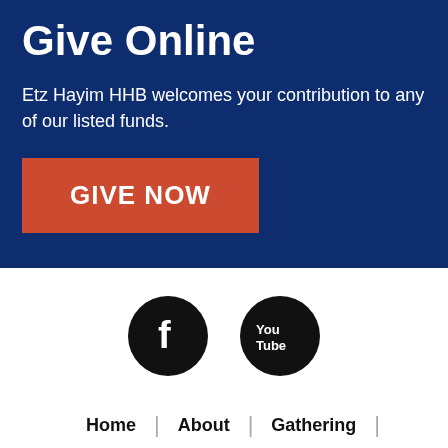Give Online
Etz Hayim HHB welcomes your contribution to any of our listed funds.
[Figure (other): Orange/red button labeled GIVE NOW]
[Figure (other): Facebook and YouTube social media icons (black circles with white logos)]
Home | About | Gathering |